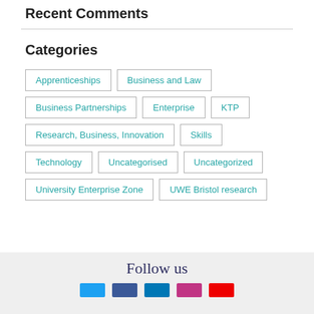Recent Comments
Categories
Apprenticeships
Business and Law
Business Partnerships
Enterprise
KTP
Research, Business, Innovation
Skills
Technology
Uncategorised
Uncategorized
University Enterprise Zone
UWE Bristol research
Follow us